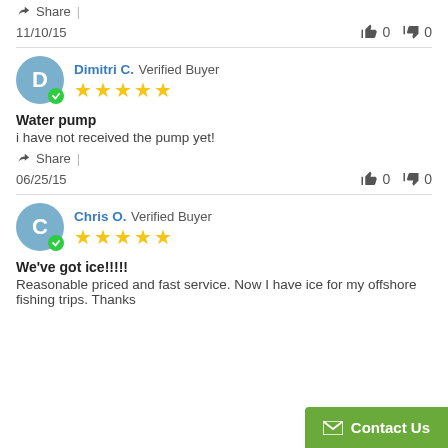Share  |
11/10/15  👍 0  👎 0
Dimitri C.  Verified Buyer ★★★★★
Water pump
i have not received the pump yet!
Share  |
06/25/15  👍 0  👎 0
Chris O.  Verified Buyer ★★★★★
We've got ice!!!!!
Reasonable priced and fast service. Now I have ice for my offshore fishing trips. Thanks
Contact Us